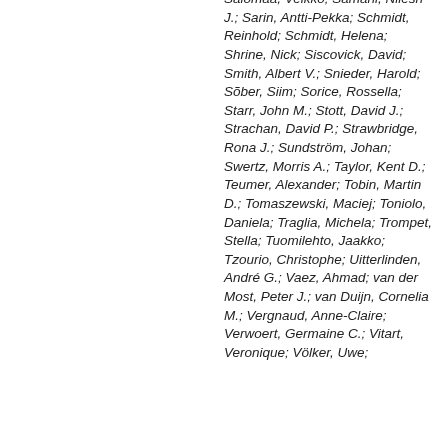Salomaa, Veikko; Samani, Nilesh J.; Sarin, Antti-Pekka; Schmidt, Reinhold; Schmidt, Helena; Shrine, Nick; Siscovick, David; Smith, Albert V.; Snieder, Harold; Sõber, Siim; Sorice, Rossella; Starr, John M.; Stott, David J.; Strachan, David P.; Strawbridge, Rona J.; Sundström, Johan; Swertz, Morris A.; Taylor, Kent D.; Teumer, Alexander; Tobin, Martin D.; Tomaszewski, Maciej; Toniolo, Daniela; Traglia, Michela; Trompet, Stella; Tuomilehto, Jaakko; Tzourio, Christophe; Uitterlinden, André G.; Vaez, Ahmad; van der Most, Peter J.; van Duijn, Cornelia M.; Vergnaud, Anne-Claire; Verwoert, Germaine C.; Vitart, Veronique; Völker, Uwe;